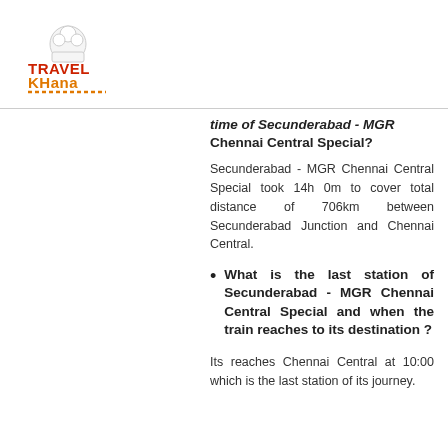[Figure (logo): TravelKhana logo with chef hat icon, red and orange text]
time of Secunderabad - MGR Chennai Central Special?
Secunderabad - MGR Chennai Central Special took 14h 0m to cover total distance of 706km between Secunderabad Junction and Chennai Central.
What is the last station of Secunderabad - MGR Chennai Central Special and when the train reaches to its destination ?
Its reaches Chennai Central at 10:00 which is the last station of its journey.